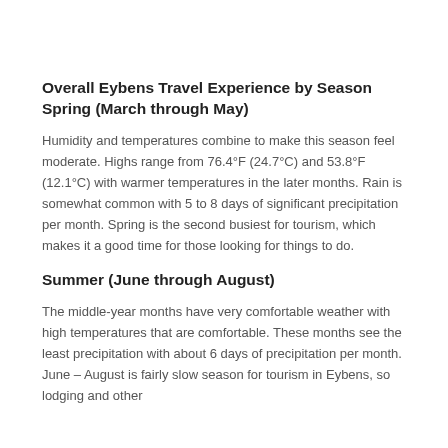Overall Eybens Travel Experience by Season
Spring (March through May)
Humidity and temperatures combine to make this season feel moderate. Highs range from 76.4°F (24.7°C) and 53.8°F (12.1°C) with warmer temperatures in the later months. Rain is somewhat common with 5 to 8 days of significant precipitation per month. Spring is the second busiest for tourism, which makes it a good time for those looking for things to do.
Summer (June through August)
The middle-year months have very comfortable weather with high temperatures that are comfortable. These months see the least precipitation with about 6 days of precipitation per month. June – August is fairly slow season for tourism in Eybens, so lodging and other